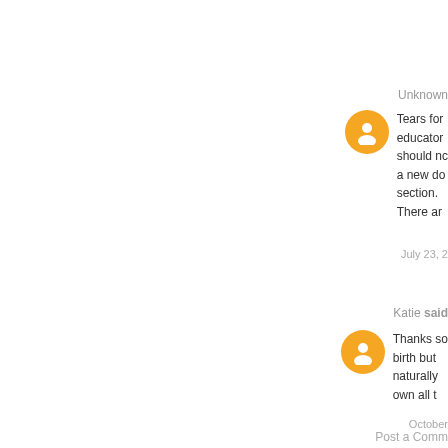Unknown
Tears for educators should not a new do section. There ar
July 23, 2
Katie said
Thanks so birth but naturally own all t
October
Post a Comm